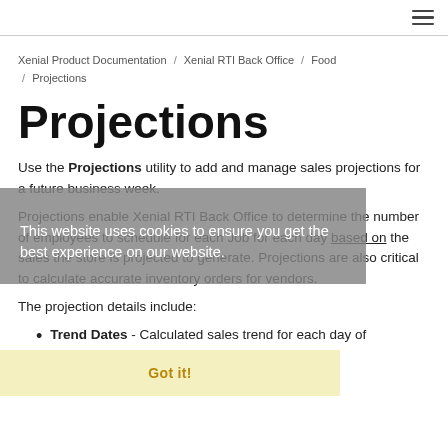☰
Xenial Product Documentation / Xenial RTI Back Office / Food / Projections
Projections
Use the Projections utility to add and manage sales projections for a future business week.
Projections enable Xenial RTI Back Office to determine the number of employees to schedule for each Job for each day based on the sales the store is projected to generate. Projections are also critical to calculate accurate inventory orders for vendors.
The projection details include:
Trend Dates - Calculated sales trend for each day of